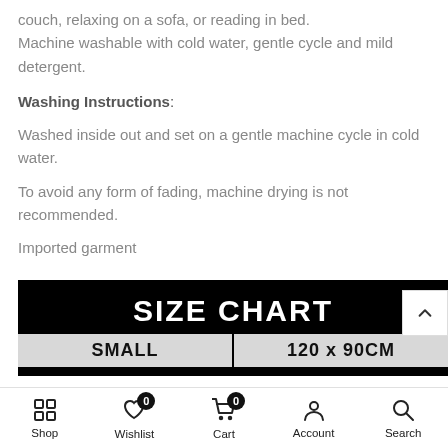Perfect for snuggling while watching TV on the couch, relaxing on a sofa, or reading in bed. Machine washable with cold water, gentle cycle and mild detergent.
Washing Instructions:
Washed inside out and set on a gentle machine cycle in cold water.
To avoid any form of fading, machine drying is not recommended.
Imported garment
[Figure (other): SIZE CHART banner with black background showing white bold text 'SIZE CHART' and below it a row showing 'SMALL' on the left and '120 x 90CM' on the right separated by a vertical line]
Shop  Wishlist 0  Cart 0  Account  Search